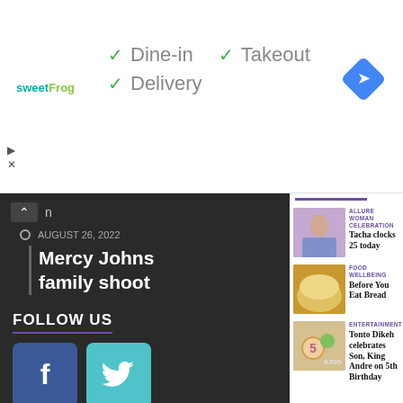[Figure (infographic): sweetFrog ad banner with Dine-in, Takeout, Delivery checkmarks and Google Maps navigation icon]
AUGUST 26, 2022
Mercy Johns family shoot
FOLLOW US
[Figure (logo): Facebook button (blue square with f)]
[Figure (logo): Twitter button (teal square with bird)]
[Figure (photo): Woman in blue outfit posing for Tacha clocks 25 article]
ALLURE WOMAN CELEBRATION
Tacha clocks 25 today
[Figure (photo): Bread loaf for Before You Eat Bread article]
FOOD WELLBEING
Before You Eat Bread
[Figure (photo): Birthday decoration with '5' balloon for Tonto Dikeh son birthday article]
ENTERTAINMENT
Tonto Dikeh celebrates Son, King Andre on 5th Birthday